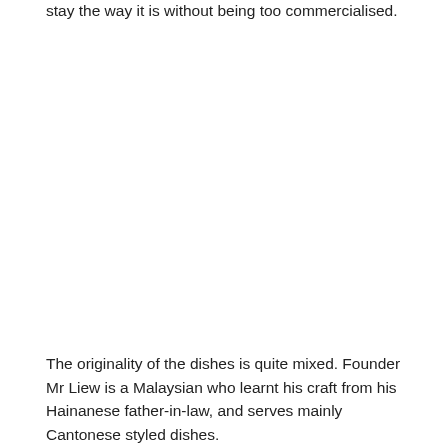stay the way it is without being too commercialised.
The originality of the dishes is quite mixed. Founder Mr Liew is a Malaysian who learnt his craft from his Hainanese father-in-law, and serves mainly Cantonese styled dishes.